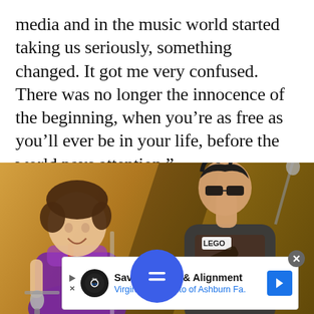media and in the music world started taking us seriously, something changed. It got me very confused. There was no longer the innocence of the beginning, when you’re as free as you’ll ever be in your life, before the world pays attention.”
[Figure (photo): Two musicians performing on stage. On the left, a woman with short brown hair wearing a purple top, singing into a microphone with intense expression. On the right, a man with dark spiky hair wearing a graphic t-shirt (LEGO logo visible), leaning over his instrument. Background is a warm golden-brown.]
[Figure (other): A blue circular button with two horizontal white lines (hamburger/menu icon or audio/control icon), overlaid on the bottom edge of the photo.]
Save on Tires & Alignment
VirginiaTire & Auto of Ashburn Fa.